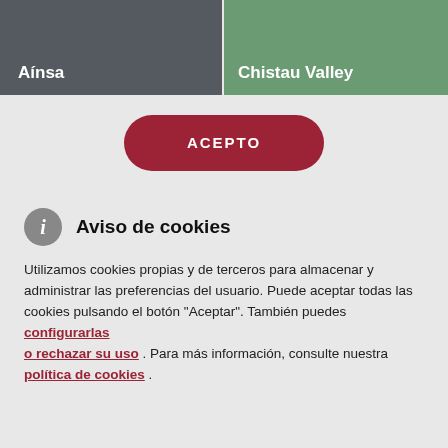[Figure (screenshot): Two navigation tiles at top: left tile with dark grey background labeled 'Aínsa', right tile with green/nature photo background labeled 'Chistau Valley']
ACEPTO
Aviso de cookies
Utilizamos cookies propias y de terceros para almacenar y administrar las preferencias del usuario. Puede aceptar todas las cookies pulsando el botón "Aceptar". También puedes configurarlas o rechazar su uso . Para más información, consulte nuestra política de cookies .